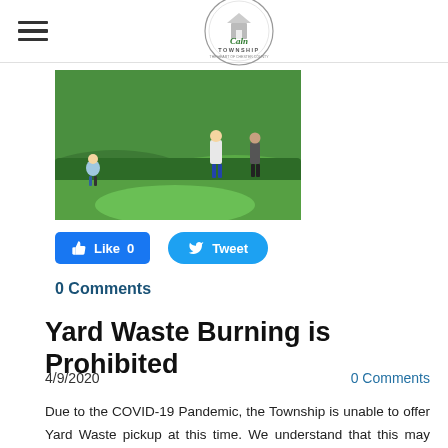Caln Township
[Figure (photo): Children running on a green grassy lawn with hedges and landscaped terrain]
[Figure (other): Facebook Like button (0) and Twitter Tweet button]
0 Comments
Yard Waste Burning is Prohibited
4/9/2020   0 Comments
Due to the COVID-19 Pandemic, the Township is unable to offer Yard Waste pickup at this time. We understand that this may seem a burden, and changes will need to be made on your part in order to assist with